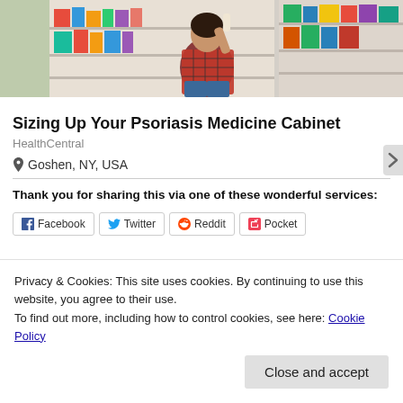[Figure (photo): Woman in a plaid shirt crouching in a pharmacy aisle, looking at products on the shelf. Store shelves with colorful packages visible in the background.]
Sizing Up Your Psoriasis Medicine Cabinet
HealthCentral
Goshen, NY, USA
Thank you for sharing this via one of these wonderful services:
Facebook  Twitter  Reddit  Pocket
Privacy & Cookies: This site uses cookies. By continuing to use this website, you agree to their use.
To find out more, including how to control cookies, see here: Cookie Policy
Close and accept